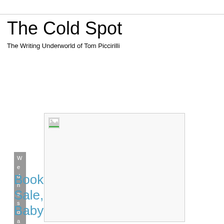The Cold Spot
The Writing Underworld of Tom Piccirilli
Wednesday, September 22, 2010
Book Sale, Baby
[Figure (photo): Broken/missing image placeholder with a small broken image icon in the top-left corner, shown as an empty white rectangle with a border]